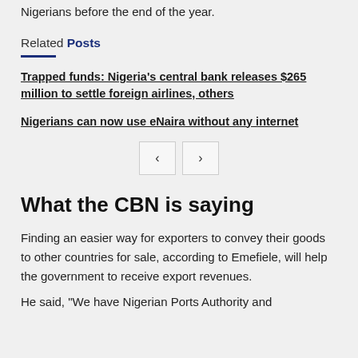Nigerians before the end of the year.
Related Posts
Trapped funds: Nigeria's central bank releases $265 million to settle foreign airlines, others
Nigerians can now use eNaira without any internet
[Figure (other): Navigation buttons with left and right arrows]
What the CBN is saying
Finding an easier way for exporters to convey their goods to other countries for sale, according to Emefiele, will help the government to receive export revenues.
He said, "We have Nigerian Ports Authority and